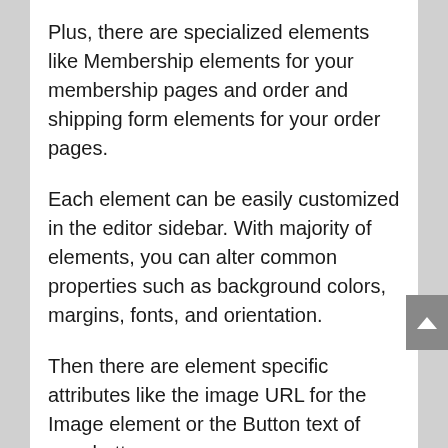Plus, there are specialized elements like Membership elements for your membership pages and order and shipping form elements for your order pages.
Each element can be easily customized in the editor sidebar. With majority of elements, you can alter common properties such as background colors, margins, fonts, and orientation.
Then there are element specific attributes like the image URL for the Image element or the Button text of your button.
Best Feature #4: The ClickFunnels Affiliate program is awesome